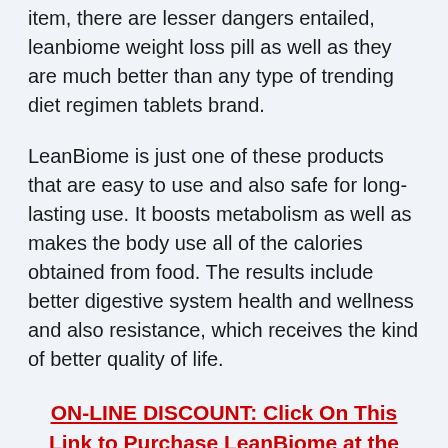in artificial products. If you are using an all-natural item, there are lesser dangers entailed, leanbiome weight loss pill as well as they are much better than any type of trending diet regimen tablets brand.
LeanBiome is just one of these products that are easy to use and also safe for long-lasting use. It boosts metabolism as well as makes the body use all of the calories obtained from food. The results include better digestive system health and wellness and also resistance, which receives the kind of better quality of life.
ON-LINE DISCOUNT: Click On This Link to Purchase LeanBiome at the Lowest Cost Today